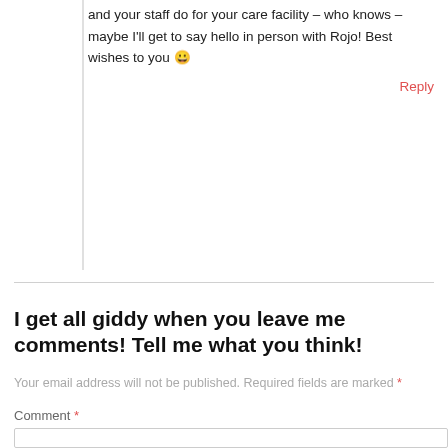and your staff do for your care facility – who knows – maybe I'll get to say hello in person with Rojo! Best wishes to you 😀
Reply
I get all giddy when you leave me comments! Tell me what you think!
Your email address will not be published. Required fields are marked *
Comment *